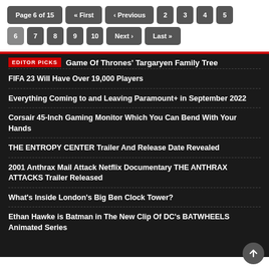Page 6 of 15 « First ‹ Previous 2 3 4 5 6 7 8 9 10 Next › Last »
EDITOR PICKS
Game Of Thrones' Targaryen Family Tree
FIFA 23 Will Have Over 19,000 Players
Everything Coming to and Leaving Paramount+ in September 2022
Corsair 45-Inch Gaming Monitor Which You Can Bend With Your Hands
THE ENTROPY CENTER Trailer And Release Date Revealed
2001 Anthrax Mail Attack Netflix Documentary THE ANTHRAX ATTACKS Trailer Released
What's Inside London's Big Ben Clock Tower?
Ethan Hawke is Batman in The New Clip Of DC's BATWHEELS Animated Series